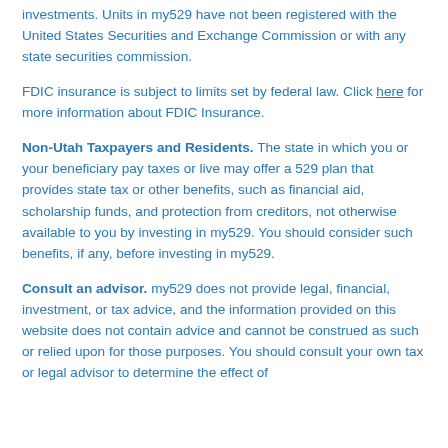investments. Units in my529 have not been registered with the United States Securities and Exchange Commission or with any state securities commission.
FDIC insurance is subject to limits set by federal law. Click here for more information about FDIC Insurance.
Non-Utah Taxpayers and Residents. The state in which you or your beneficiary pay taxes or live may offer a 529 plan that provides state tax or other benefits, such as financial aid, scholarship funds, and protection from creditors, not otherwise available to you by investing in my529. You should consider such benefits, if any, before investing in my529.
Consult an advisor. my529 does not provide legal, financial, investment, or tax advice, and the information provided on this website does not contain advice and cannot be construed as such or relied upon for those purposes. You should consult your own tax or legal advisor to determine the effect of